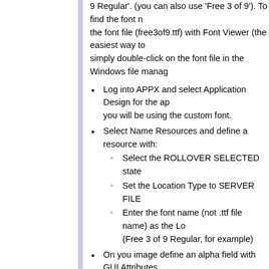9 Regular'. (you can also use 'Free 3 of 9'). To find the font name, open the font file (free3of9.ttf) with Font Viewer (the easiest way to do this is simply double-click on the font file in the Windows file manager).
Log into APPX and select Application Design for the app you will be using the custom font.
Select Name Resources and define a resource with:
Select the ROLLOVER SELECTED state
Set the Location Type to SERVER FILE
Enter the font name (not .ttf file name) as the Lo (Free 3 of 9 Regular, for example)
On you image define an alpha field with GUI Attributes
Select the Control Type of Label
In Resource enter the application and name you above step
Leave the Font blank
Enter a name in the Name field (VENDOR BAR example)
In the Pre-Display event point enter the following code
SET      --- WIDGET NAME                    =      VE
READ     --- WIDGET                      HOLD 1 FT 0 B
T        SET      --- II                          =      10